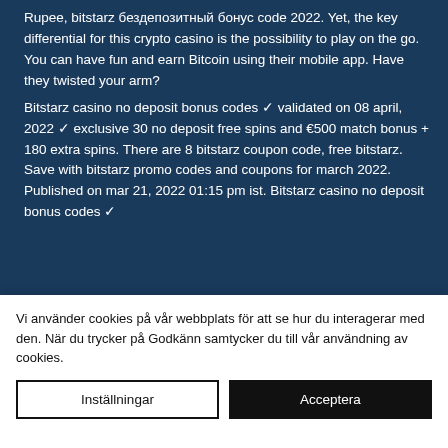Rupee, bitstarz бездепозитный бонус code 2022. Yet, the key differential for this crypto casino is the possibility to play on the go. You can have fun and earn Bitcoin using their mobile app. Have they twisted your arm?
Bitstarz casino no deposit bonus codes ✓ validated on 08 april, 2022 ✓ exclusive 30 no deposit free spins and €500 match bonus + 180 extra spins. There are 8 bitstarz coupon code, free bitstarz. Save with bitstarz promo codes and coupons for march 2022. Published on mar 21, 2022 01:15 pm ist. Bitstarz casino no deposit bonus codes ✓
Vi använder cookies på vår webbplats för att se hur du interagerar med den. När du trycker på Godkänn samtycker du till vår användning av cookies.
Inställningar
Acceptera